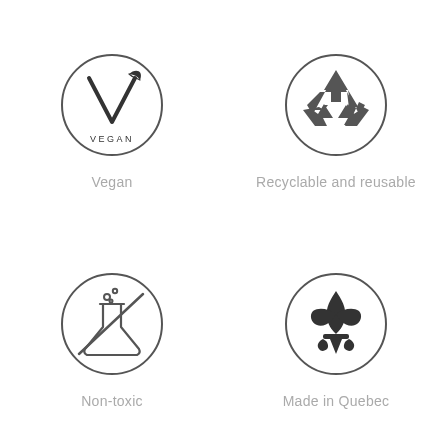[Figure (illustration): Vegan certification badge: circle with a V and leaf symbol and the word VEGAN]
Vegan
[Figure (illustration): Recyclable and reusable badge: circle with recycling arrows symbol]
Recyclable and reusable
[Figure (illustration): Non-toxic badge: circle with a flask/beaker with a diagonal strike-through line and bubbles]
Non-toxic
[Figure (illustration): Made in Quebec badge: circle with a fleur-de-lis symbol]
Made in Quebec